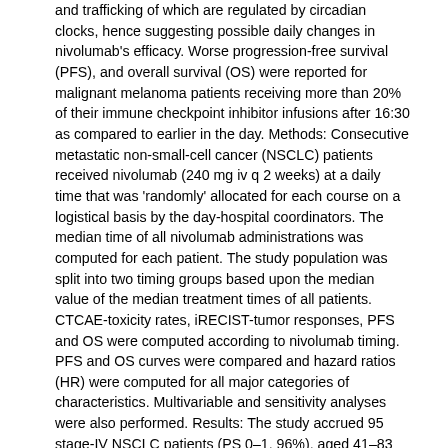and trafficking of which are regulated by circadian clocks, hence suggesting possible daily changes in nivolumab's efficacy. Worse progression-free survival (PFS), and overall survival (OS) were reported for malignant melanoma patients receiving more than 20% of their immune checkpoint inhibitor infusions after 16:30 as compared to earlier in the day. Methods: Consecutive metastatic non-small-cell cancer (NSCLC) patients received nivolumab (240 mg iv q 2 weeks) at a daily time that was 'randomly' allocated for each course on a logistical basis by the day-hospital coordinators. The median time of all nivolumab administrations was computed for each patient. The study population was split into two timing groups based upon the median value of the median treatment times of all patients. CTCAE-toxicity rates, iRECIST-tumor responses, PFS and OS were computed according to nivolumab timing. PFS and OS curves were compared and hazard ratios (HR) were computed for all major categories of characteristics. Multivariable and sensitivity analyses were also performed. Results: The study accrued 95 stage-IV NSCLC patients (PS 0–1, 96%), aged 41–83 years. The majority of nivolumab administrations occurred between 9:27 and 12:54 for 48 patients ('morning' group) and between 12:55 and 17:14 for the other 47 ('afternoon' group). Median PFS (95% CL) was 11.3 months (5.5–17.1) for the 'morning' group and 3.1 months (1.5–4.6) for the 'afternoon' one (p < 0.001). Median OS was 34.2 months (15.1–53.3) and 9.6 months (4.9–14.4) for the 'morning' group and the 'afternoon' one, respectively (p < 0.001). Multivariable analyses identified 'morning' timing as